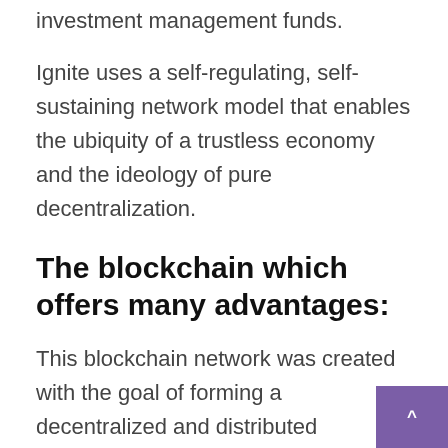investment management funds.
Ignite uses a self-regulating, self-sustaining network model that enables the ubiquity of a trustless economy and the ideology of pure decentralization.
The blockchain which offers many advantages:
This blockchain network was created with the goal of forming a decentralized and distributed community capable of developing, testing and launching exciting new financial products and applications based on blockchain technology.
With the goal of reducing transaction costs and